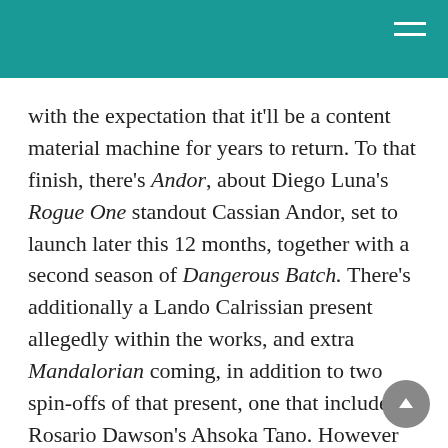with the expectation that it'll be a content material machine for years to return. To that finish, there's Andor, about Diego Luna's Rogue One standout Cassian Andor, set to launch later this 12 months, together with a second season of Dangerous Batch. There's additionally a Lando Calrissian present allegedly within the works, and extra Mandalorian coming, in addition to two spin-offs of that present, one that includes Rosario Dawson's Ahsoka Tano. However these initiatives are simply spin-offs from already-existing tales within the Star Wars universe.